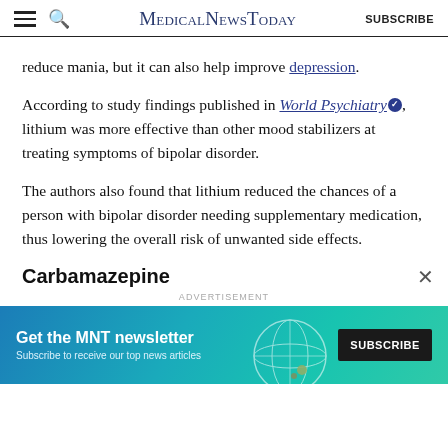MedicalNewsToday SUBSCRIBE
reduce mania, but it can also help improve depression.
According to study findings published in World Psychiatry, lithium was more effective than other mood stabilizers at treating symptoms of bipolar disorder.
The authors also found that lithium reduced the chances of a person with bipolar disorder needing supplementary medication, thus lowering the overall risk of unwanted side effects.
Carbamazepine
[Figure (screenshot): Advertisement banner for MNT newsletter with text 'Get the MNT newsletter' and 'Subscribe to receive our top news articles' and a SUBSCRIBE button on dark background, with teal/blue gradient and globe imagery.]